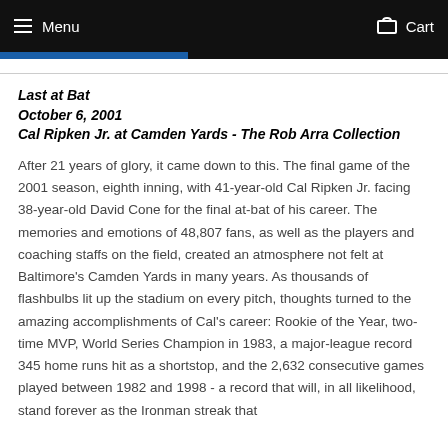Menu  Cart
Last at Bat
October 6, 2001
Cal Ripken Jr. at Camden Yards - The Rob Arra Collection
After 21 years of glory, it came down to this. The final game of the 2001 season, eighth inning, with 41-year-old Cal Ripken Jr. facing 38-year-old David Cone for the final at-bat of his career. The memories and emotions of 48,807 fans, as well as the players and coaching staffs on the field, created an atmosphere not felt at Baltimore's Camden Yards in many years. As thousands of flashbulbs lit up the stadium on every pitch, thoughts turned to the amazing accomplishments of Cal's career: Rookie of the Year, two-time MVP, World Series Champion in 1983, a major-league record 345 home runs hit as a shortstop, and the 2,632 consecutive games played between 1982 and 1998 - a record that will, in all likelihood, stand forever as the Ironman streak that